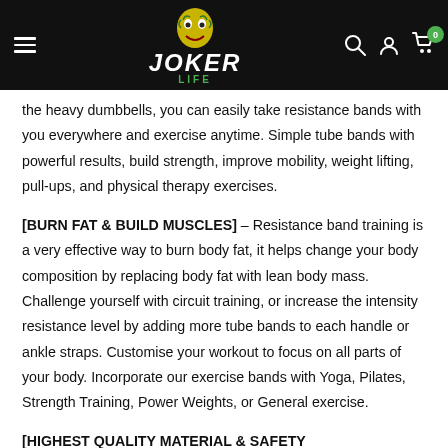Joker Life — navigation header with logo, search, account, and cart icons
the heavy dumbbells, you can easily take resistance bands with you everywhere and exercise anytime. Simple tube bands with powerful results, build strength, improve mobility, weight lifting, pull-ups, and physical therapy exercises.
[BURN FAT & BUILD MUSCLES] – Resistance band training is a very effective way to burn body fat, it helps change your body composition by replacing body fat with lean body mass. Challenge yourself with circuit training, or increase the intensity resistance level by adding more tube bands to each handle or ankle straps. Customise your workout to focus on all parts of your body. Incorporate our exercise bands with Yoga, Pilates, Strength Training, Power Weights, or General exercise.
[HIGHEST QUALITY MATERIAL & SAFETY...